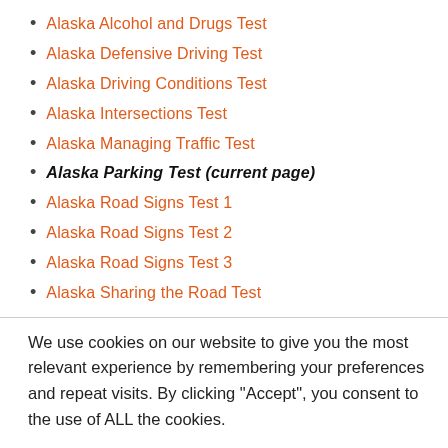Alaska Alcohol and Drugs Test
Alaska Defensive Driving Test
Alaska Driving Conditions Test
Alaska Intersections Test
Alaska Managing Traffic Test
Alaska Parking Test (current page)
Alaska Road Signs Test 1
Alaska Road Signs Test 2
Alaska Road Signs Test 3
Alaska Sharing the Road Test
We use cookies on our website to give you the most relevant experience by remembering your preferences and repeat visits. By clicking “Accept”, you consent to the use of ALL the cookies.